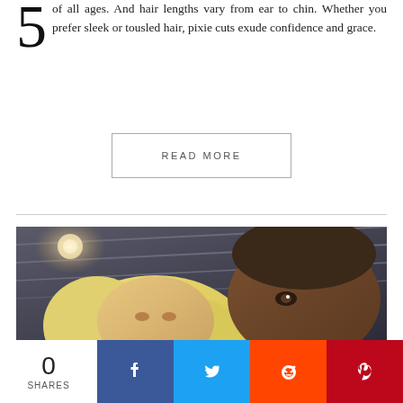of all ages. And hair lengths vary from ear to chin. Whether you prefer sleek or tousled hair, pixie cuts exude confidence and grace.
READ MORE
[Figure (photo): Close-up selfie photo of two people — a woman with blonde tousled hair and a man with a short buzzcut — taken from a low angle under a corrugated metal ceiling with a light visible in the background.]
0 SHARES
[Figure (infographic): Social sharing bar with Facebook, Twitter, Reddit, and Pinterest buttons]